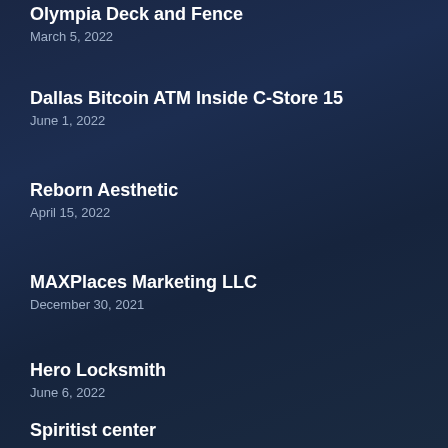Olympia Deck and Fence
March 5, 2022
Dallas Bitcoin ATM Inside C-Store 15
June 1, 2022
Reborn Aesthetic
April 15, 2022
MAXPlaces Marketing LLC
December 30, 2021
Hero Locksmith
June 6, 2022
Spiritist center